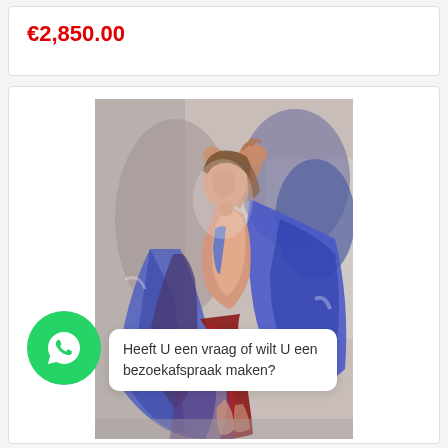€2,850.00
[Figure (illustration): Oil painting of a woman with arms raised above her head, wearing a blue and red draping garment, with expressive brushwork in blue, purple, and red tones against a light grey background.]
Heeft U een vraag of wilt U een bezoekafspraak maken?